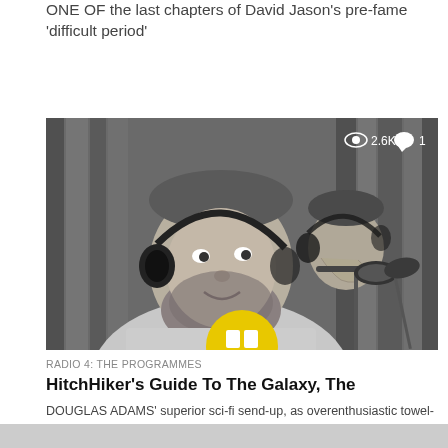ONE OF the last chapters of David Jason's pre-fame 'difficult period'
[Figure (photo): Black and white photo of a bearded man wearing headphones, looking at the camera, with another person visible behind him and microphones in the foreground. A yellow circle/object is visible at the bottom center. Stats overlay: 2.6K views, 1 comment.]
RADIO 4: THE PROGRAMMES
HitchHiker's Guide To The Galaxy, The
DOUGLAS ADAMS' superior sci-fi send-up, as overenthusiastic towel-wielding blokes hunting for off-airs of Marvin on Studio B15 are wont to remind you...